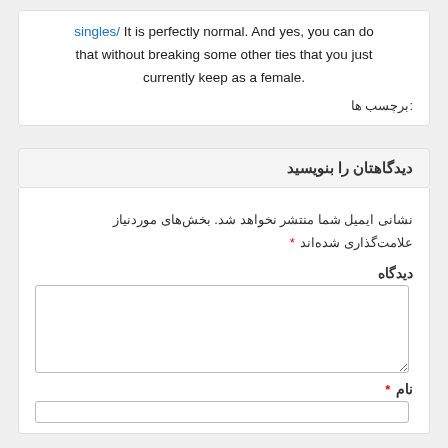singles/ It is perfectly normal. And yes, you can do that without breaking some other ties that you just currently keep as a female.
برچسب ها:
دیدگاهتان را بنویسید
نشانی ایمیل شما منتشر نخواهد شد. بخش‌های موردنیاز علامت‌گذاری شده‌اند *
دیدگاه
نام *